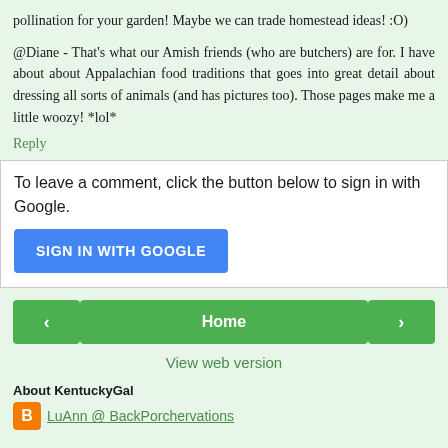pollination for your garden! Maybe we can trade homestead ideas! :O)
@Diane - That's what our Amish friends (who are butchers) are for. I have about about Appalachian food traditions that goes into great detail about dressing all sorts of animals (and has pictures too). Those pages make me a little woozy! *lol*
Reply
To leave a comment, click the button below to sign in with Google.
[Figure (screenshot): Blue 'SIGN IN WITH GOOGLE' button]
[Figure (screenshot): Navigation bar with left arrow, Home button, and right arrow in green]
View web version
About KentuckyGal
LuAnn @ BackPorchervations